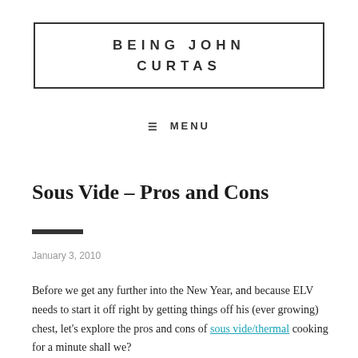BEING JOHN CURTAS
MENU
Sous Vide – Pros and Cons
January 3, 2010
Before we get any further into the New Year, and because ELV needs to start it off right by getting things off his (ever growing) chest, let's explore the pros and cons of sous vide/thermal cooking for a minute shall we?